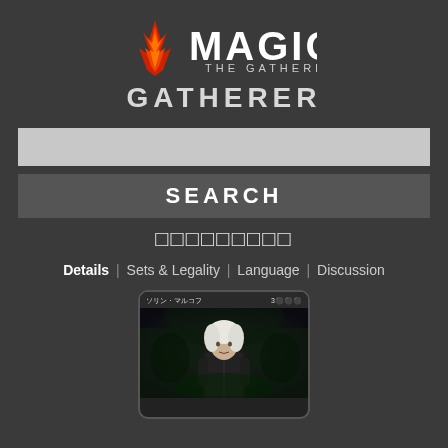[Figure (logo): Magic: The Gathering logo with red flame planeswalker symbol and white text]
GATHERER
[Figure (screenshot): Search input bar (light gray empty text field)]
SEARCH
アドベンチャー
Details | Sets & Legality | Language | Discussion
[Figure (illustration): Magic: The Gathering card art showing Sorin Markov Japanese version with cost 3BBB, dark fantasy art of pale figure in armor]